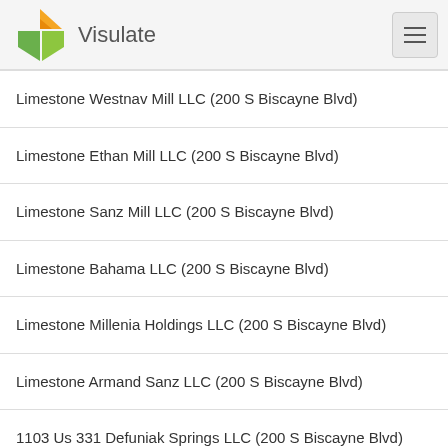Visulate
Limestone Westnav Mill LLC (200 S Biscayne Blvd)
Limestone Ethan Mill LLC (200 S Biscayne Blvd)
Limestone Sanz Mill LLC (200 S Biscayne Blvd)
Limestone Bahama LLC (200 S Biscayne Blvd)
Limestone Millenia Holdings LLC (200 S Biscayne Blvd)
Limestone Armand Sanz LLC (200 S Biscayne Blvd)
1103 Us 331 Defuniak Springs LLC (200 S Biscayne Blvd)
7815 S Us Highway 17/92 Fern Park LLC (200 S Biscayne Blvd)
318 W Prospect Rd Ashtabula LLC (200 S Biscayne Blvd)
1005 S Governor Williams Highway Darlington LLC (200 S...